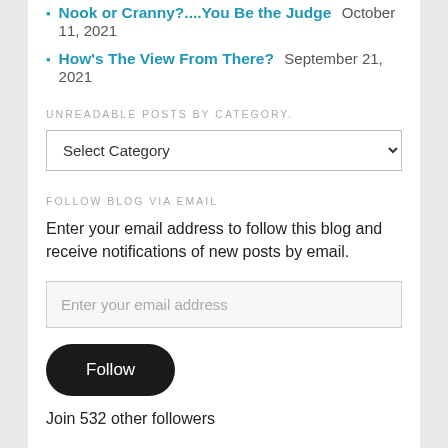Nook or Cranny?....You Be the Judge October 11, 2021
How's The View From There? September 21, 2021
UNREADABLE POSTS BY CATEGORY.
Select Category
FOLLOW BLOG VIA EMAIL
Enter your email address to follow this blog and receive notifications of new posts by email.
Enter your email address
Follow
Join 532 other followers
IF YOU DON'T HAVE A LIFE, YOU CAN HELP ME LIVE MINE....
Thanks for checking my blog. If you came here expecting